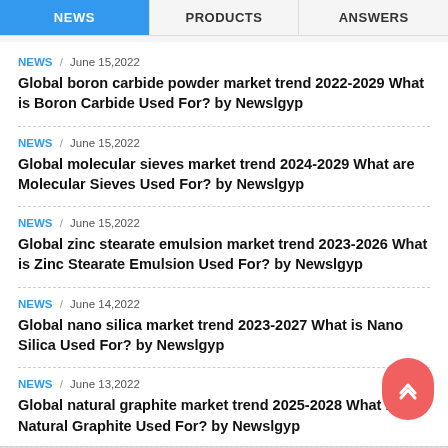NEWS | PRODUCTS | ANSWERS
NEWS / June 15,2022
Global boron carbide powder market trend 2022-2029 What is Boron Carbide Used For? by Newslgyp
NEWS / June 15,2022
Global molecular sieves market trend 2024-2029 What are Molecular Sieves Used For? by Newslgyp
NEWS / June 15,2022
Global zinc stearate emulsion market trend 2023-2026 What is Zinc Stearate Emulsion Used For? by Newslgyp
NEWS / June 14,2022
Global nano silica market trend 2023-2027 What is Nano Silica Used For? by Newslgyp
NEWS / June 13,2022
Global natural graphite market trend 2025-2028 What is Natural Graphite Used For? by Newslgyp